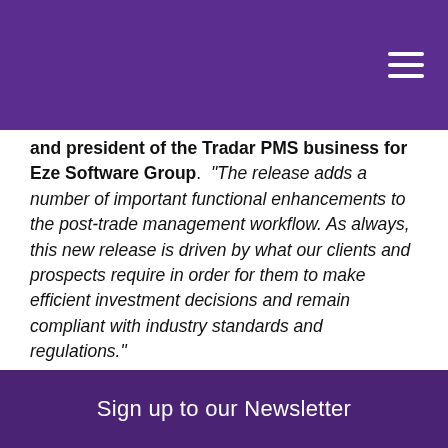and president of the Tradar PMS business for Eze Software Group. “The release adds a number of important functional enhancements to the post-trade management workflow. As always, this new release is driven by what our clients and prospects require in order for them to make efficient investment decisions and remain compliant with industry standards and regulations.”
Eze Software Group’s Tradar PMS is a real-time, multi-asset class portfolio modeling, management, and accounting solution. The Tradar PMS is used by more than 200 buy-side firms in over 30 countries worldwide to improve decision making,
Sign up to our Newsletter